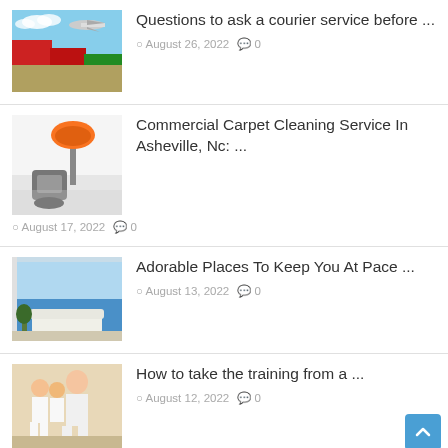[Figure (photo): Airplane flying over colorful shipping containers at a port]
Questions to ask a courier service before ...
August 26, 2022  0
[Figure (photo): Orange desk lamp with cleaning equipment on a reflective floor]
Commercial Carpet Cleaning Service In Asheville, Nc: ...
August 17, 2022  0
[Figure (photo): Modern bright living room with ocean view through large windows]
Adorable Places To Keep You At Pace ...
August 13, 2022  0
[Figure (photo): Martial arts instructor teaching children in white uniforms]
How to take the training from a ...
August 12, 2022  0